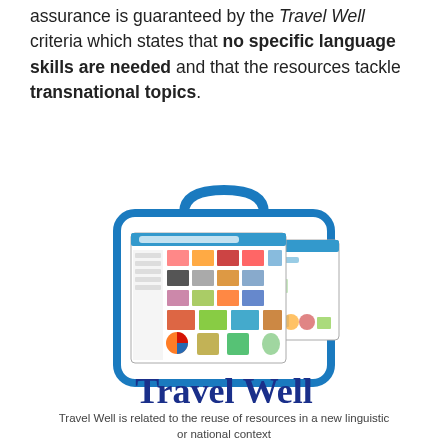assurance is guaranteed by the Travel Well criteria which states that no specific language skills are needed and that the resources tackle transnational topics.
[Figure (illustration): A suitcase-shaped icon in blue outline containing screenshots of a digital learning resource platform, with two overlapping browser windows showing educational images and colorful content. Below the suitcase icon is the text 'Travel Well' in large bold dark blue serif font.]
Travel Well is related to the reuse of resources in a new linguistic or national context